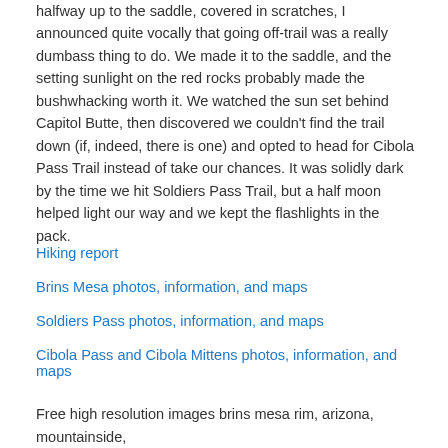halfway up to the saddle, covered in scratches, I announced quite vocally that going off-trail was a really dumbass thing to do. We made it to the saddle, and the setting sunlight on the red rocks probably made the bushwhacking worth it. We watched the sun set behind Capitol Butte, then discovered we couldn't find the trail down (if, indeed, there is one) and opted to head for Cibola Pass Trail instead of take our chances. It was solidly dark by the time we hit Soldiers Pass Trail, but a half moon helped light our way and we kept the flashlights in the pack.
Hiking report
Brins Mesa photos, information, and maps
Soldiers Pass photos, information, and maps
Cibola Pass and Cibola Mittens photos, information, and maps
Free high resolution images brins mesa rim, arizona, mountainside,